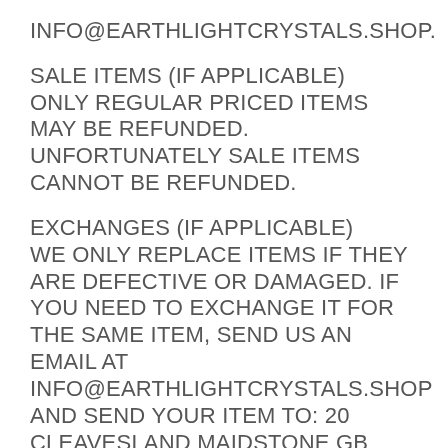INFO@EARTHLIGHTCRYSTALS.SHOP.
SALE ITEMS (IF APPLICABLE)
ONLY REGULAR PRICED ITEMS MAY BE REFUNDED. UNFORTUNATELY SALE ITEMS CANNOT BE REFUNDED.
EXCHANGES (IF APPLICABLE)
WE ONLY REPLACE ITEMS IF THEY ARE DEFECTIVE OR DAMAGED. IF YOU NEED TO EXCHANGE IT FOR THE SAME ITEM, SEND US AN EMAIL AT INFO@EARTHLIGHTCRYSTALS.SHOP AND SEND YOUR ITEM TO: 20 CLEAVESLAND MAIDSTONE GB ME186BS.
GIFTS
IF THE ITEM WAS MARKED AS A GIFT WHEN